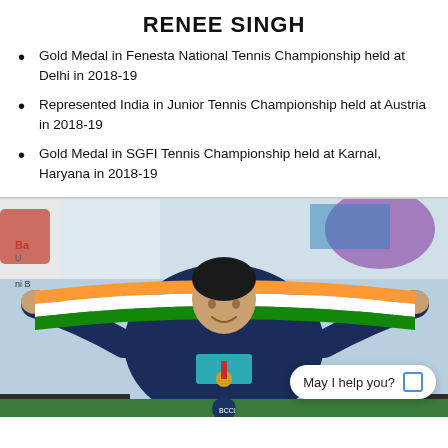RENEE SINGH
Gold Medal in Fenesta National Tennis Championship held at Delhi in 2018-19
Represented India in Junior Tennis Championship held at Austria in 2018-19
Gold Medal in SGFI Tennis Championship held at Karnal, Haryana in 2018-19
[Figure (photo): Young female athlete holding up the Indian tricolor flag with arms spread wide, wearing a blue jacket and teal sports top with a medal, smiling at the camera. Background shows a sports event backdrop. A chat bubble with 'May I help you?' and an icon is overlaid in the bottom right corner.]